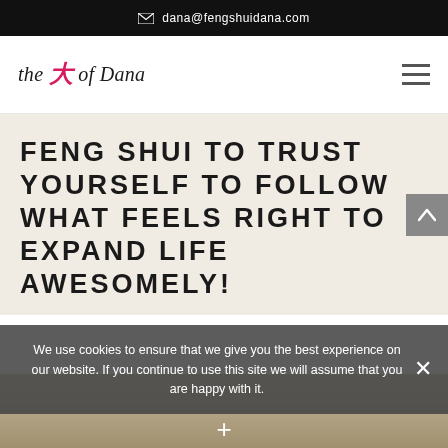dana@fengshuidana.com
[Figure (logo): The Tao of Dana logo with stylized red Tao character]
FENG SHUI TO TRUST YOURSELF TO FOLLOW WHAT FEELS RIGHT TO EXPAND LIFE AWESOMELY!
We use cookies to ensure that we give you the best experience on our website. If you continue to use this site we will assume that you are happy with it.